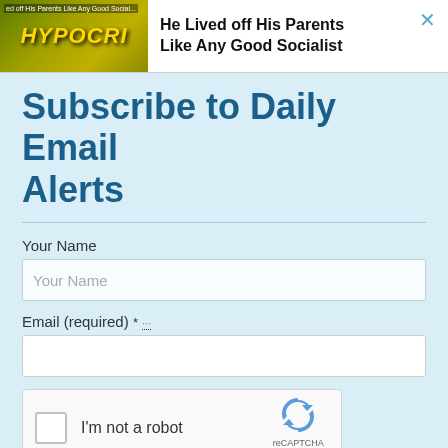[Figure (screenshot): Advertisement banner showing a book cover with 'HYPOCRI' text and a person's face, with headline 'He Lived off His Parents Like Any Good Socialist' and a close (×) button]
Subscribe to Daily Email Alerts
Your Name
Email (required) *
[Figure (other): reCAPTCHA widget with checkbox labeled 'I'm not a robot' and reCAPTCHA logo with Privacy - Terms links]
Submit
By submitting this form, you are consenting to receive marketing emails from: News With Views, P.O. Box 990, Spring Branch, TX, 78070-9998,